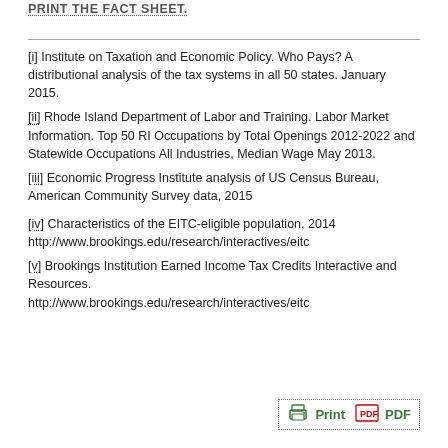PRINT THE FACT SHEET.
[i] Institute on Taxation and Economic Policy. Who Pays? A distributional analysis of the tax systems in all 50 states. January 2015.
[ii] Rhode Island Department of Labor and Training. Labor Market Information. Top 50 RI Occupations by Total Openings 2012-2022 and Statewide Occupations All Industries, Median Wage May 2013.
[iii] Economic Progress Institute analysis of US Census Bureau, American Community Survey data, 2015
[iv] Characteristics of the EITC-eligible population, 2014 http://www.brookings.edu/research/interactives/eitc
[v] Brookings Institution Earned Income Tax Credits Interactive and Resources. http://www.brookings.edu/research/interactives/eitc
[Figure (other): Print / PDF button with printer icon and PDF icon]